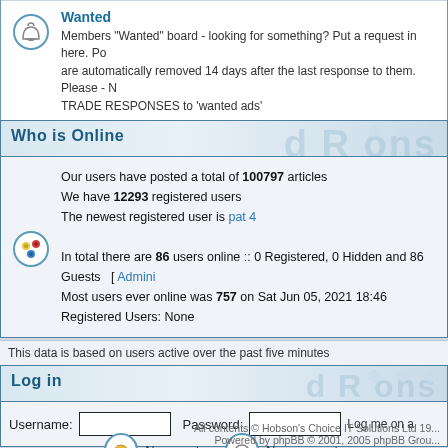Wanted
Members "Wanted" board - looking for something? Put a request in here. Posts are automatically removed 14 days after the last response to them. Please - NO TRADE RESPONSES to 'wanted ads'
Who is Online
Our users have posted a total of 100797 articles
We have 12293 registered users
The newest registered user is pat 4
In total there are 86 users online :: 0 Registered, 0 Hidden and 86 Guests  [ Admini...
Most users ever online was 757 on Sat Jun 05, 2021 18:46
Registered Users: None
This data is based on users active over the past five minutes
Log in
Username:  Password:  Log me on a
All contents © Hobson's Choice IT Solutions Ltd 19...
Powered by phpBB © 2001, 2005 phpBB Grou...